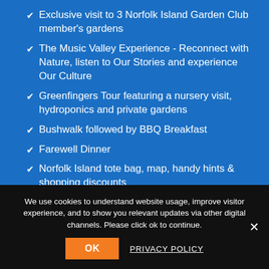Exclusive visit to 3 Norfolk Island Garden Club member's gardens
The Music Valley Experience - Reconnect with Nature, listen to Our Stories and experience Our Culture
Greenfingers Tour featuring a nursery visit, hydroponics and private gardens
Bushwalk followed by BBQ Breakfast
Farewell Dinner
Norfolk Island tote bag, map, handy hints & shopping discounts
We use cookies to understand website usage, improve visitor experience, and to show you relevant updates via other digital channels. Please click ok to continue.